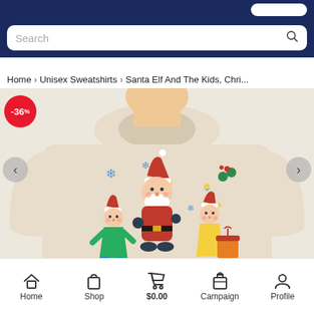Search
Home > Unisex Sweatshirts > Santa Elf And The Kids, Chri...
[Figure (photo): A person wearing a cream/beige sweatshirt featuring a Christmas print with Santa Claus, two elf children, snowflakes, stars, and holly. A red circular discount badge showing -36% is visible in the top left corner of the image.]
Home  Shop  $0.00  Campaign  Profile